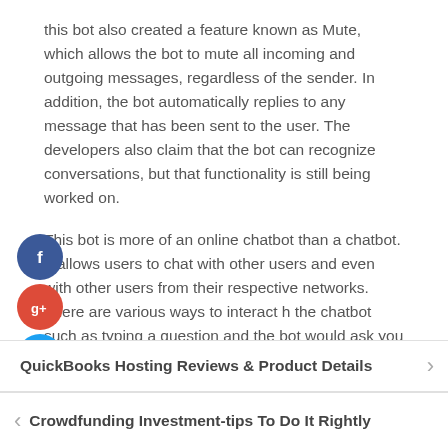this bot also created a feature known as Mute, which allows the bot to mute all incoming and outgoing messages, regardless of the sender. In addition, the bot automatically replies to any message that has been sent to the user. The developers also claim that the bot can recognize conversations, but that functionality is still being worked on.
This bot is more of an online chatbot than a chatbot. It allows users to chat with other users and even with other users from their respective networks. There are various ways to interact h the chatbot such as typing a question and the bot would ask you what you want to know ask your question via the at" option and then the chatbot would respond to your ery. Furthermore, you can also send messages to the hatbot. This type of interaction with the chatbot is similar to
QuickBooks Hosting Reviews & Product Details
Crowdfunding Investment-tips To Do It Rightly